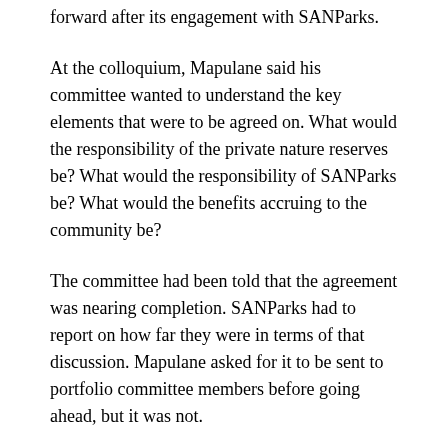forward after its engagement with SANParks.
At the colloquium, Mapulane said his committee wanted to understand the key elements that were to be agreed on. What would the responsibility of the private nature reserves be? What would the responsibility of SANParks be? What would the benefits accruing to the community be?
The committee had been told that the agreement was nearing completion. SANParks had to report on how far they were in terms of that discussion. Mapulane asked for it to be sent to portfolio committee members before going ahead, but it was not.
By way of a phone call and an SMS, Mapulane communicated to SANParks that, by signing the agreement, they would be in breach of both committee